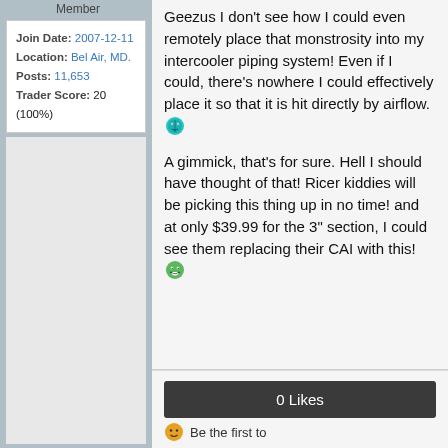Member
Join Date: 2007-12-11
Location: Bel Air, MD.
Posts: 11,653
Trader Score: 20 (100%)
Geezus I don't see how I could even remotely place that monstrosity into my intercooler piping system! Even if I could, there's nowhere I could effectively place it so that it is hit directly by airflow.
A gimmick, that's for sure. Hell I should have thought of that! Ricer kiddies will be picking this thing up in no time! and at only $39.99 for the 3" section, I could see them replacing their CAI with this!
0 Likes
Be the first to